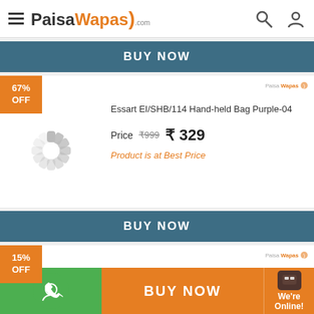PaisaWapas.com
BUY NOW
67% OFF
Essart EI/SHB/114 Hand-held Bag Purple-04
Price ₹999 ₹329
Product is at Best Price
BUY NOW
15% OFF
Essart Shoulder Bag(Brown)
BUY NOW
We're Online!